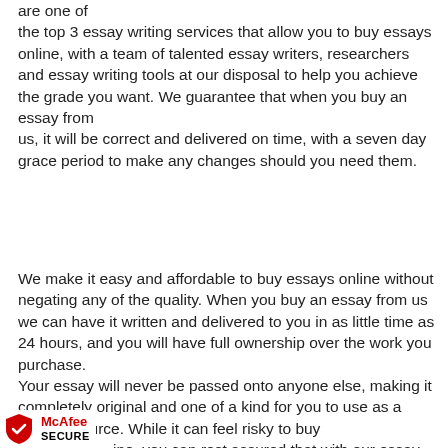are one of the top 3 essay writing services that allow you to buy essays online, with a team of talented essay writers, researchers and essay writing tools at our disposal to help you achieve the grade you want. We guarantee that when you buy an essay from us, it will be correct and delivered on time, with a seven day grace period to make any changes should you need them.
We make it easy and affordable to buy essays online without negating any of the quality. When you buy an essay from us we can have it written and delivered to you in as little time as 24 hours, and you will have full ownership over the work you purchase. Your essay will never be passed onto anyone else, making it completely original and one of a kind for you to use as a study resource. While it can feel risky to buy online, you can rest assured that with our essay
[Figure (logo): McAfee SECURE badge with red shield logo]